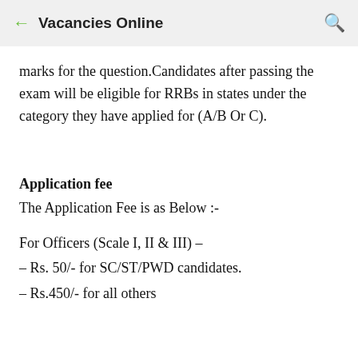← Vacancies Online 🔍
marks for the question.Candidates after passing the exam will be eligible for RRBs in states under the category they have applied for (A/B Or C).
Application fee
The Application Fee is as Below :-
For Officers (Scale I, II & III) –
– Rs. 50/- for SC/ST/PWD candidates.
– Rs.450/- for all others